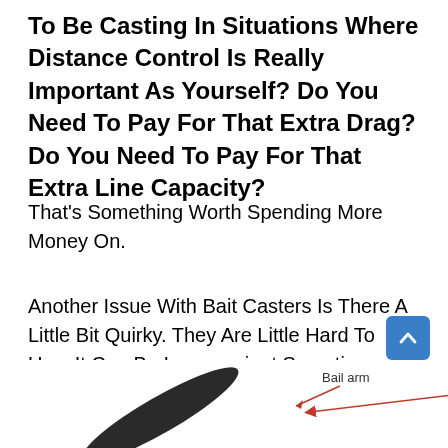To Be Casting In Situations Where Distance Control Is Really Important As Yourself? Do You Need To Pay For That Extra Drag? Do You Need To Pay For That Extra Line Capacity?
That's Something Worth Spending More Money On.
Another Issue With Bait Casters Is There A Little Bit Quirky. They Are Little Hard To Use, It Can Be Inconvenient Sometimes.
[Figure (illustration): Partial illustration of a fishing reel bail arm component with label 'Bail arm' and an arrow pointing to it, partially visible at bottom of page.]